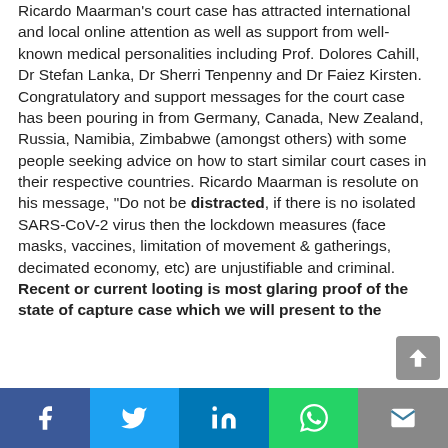Ricardo Maarman's court case has attracted international and local online attention as well as support from well-known medical personalities including Prof. Dolores Cahill, Dr Stefan Lanka, Dr Sherri Tenpenny and Dr Faiez Kirsten. Congratulatory and support messages for the court case has been pouring in from Germany, Canada, New Zealand, Russia, Namibia, Zimbabwe (amongst others) with some people seeking advice on how to start similar court cases in their respective countries. Ricardo Maarman is resolute on his message, "Do not be distracted, if there is no isolated SARS-CoV-2 virus then the lockdown measures (face masks, vaccines, limitation of movement & gatherings, decimated economy, etc) are unjustifiable and criminal. Recent or current looting is most glaring proof of the state of capture case which we will present to the
[Figure (other): Social sharing bar at the bottom with Facebook, Twitter, LinkedIn, WhatsApp, and email icons]